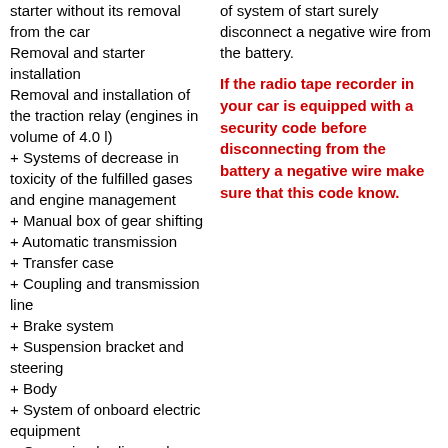starter without its removal from the car
    Removal and starter installation
    Removal and installation of the traction relay (engines in volume of 4.0 l)
+ Systems of decrease in toxicity of the fulfilled gases and engine management
+ Manual box of gear shifting
+ Automatic transmission
+ Transfer case
+ Coupling and transmission line
+ Brake system
+ Suspension bracket and steering
+ Body
+ System of onboard electric equipment
+ Governing bodies and operation
of system of start surely disconnect a negative wire from the battery.
If the radio tape recorder in your car is equipped with a security code before disconnecting from the battery a negative wire make sure that this code know.